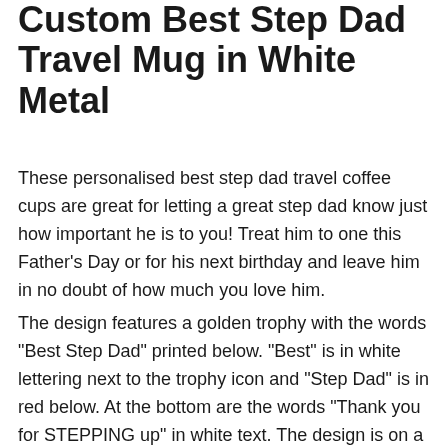Custom Best Step Dad Travel Mug in White Metal
These personalised best step dad travel coffee cups are great for letting a great step dad know just how important he is to you! Treat him to one this Father's Day or for his next birthday and leave him in no doubt of how much you love him.
The design features a golden trophy with the words "Best Step Dad" printed below. "Best" is in white lettering next to the trophy icon and "Step Dad" is in red below. At the bottom are the words "Thank you for STEPPING up" in white text. The design is on a black rectangular background which has a gold border. A message of your choise can be added to the back of the mug.